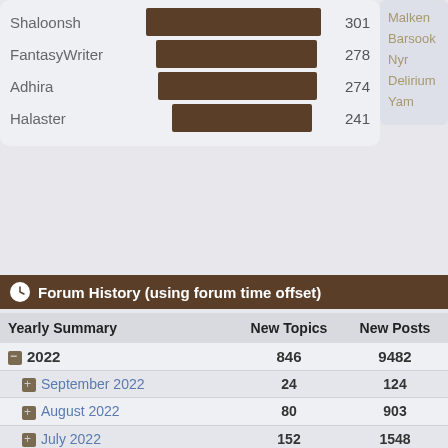[Figure (bar-chart): Top users bar chart (partial)]
Forum History (using forum time offset)
| Yearly Summary | New Topics | New Posts |
| --- | --- | --- |
| 2022 | 846 | 9482 |
| September 2022 | 24 | 124 |
| August 2022 | 80 | 903 |
| July 2022 | 152 | 1548 |
| June 2022 | 124 | 1515 |
| May 2022 | 102 | 1121 |
| April 2022 | 82 | 894 |
| March 2022 | 101 | 1137 |
| February 2022 | 65 | 825 |
| January 2022 | 116 | 1415 |